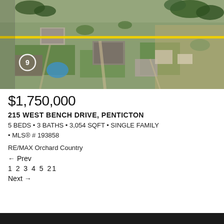[Figure (photo): Aerial/satellite view of residential neighborhood showing houses, yards, driveways, and surrounding vegetation. A yellow horizontal line (road or boundary marking) runs across the middle of the image.]
$1,750,000
215 WEST BENCH DRIVE, PENTICTON
5 BEDS • 3 BATHS • 3,054 SQFT • SINGLE FAMILY • MLS® # 193858
RE/MAX Orchard Country
← Prev
1 2 3 4 5 21
Next →